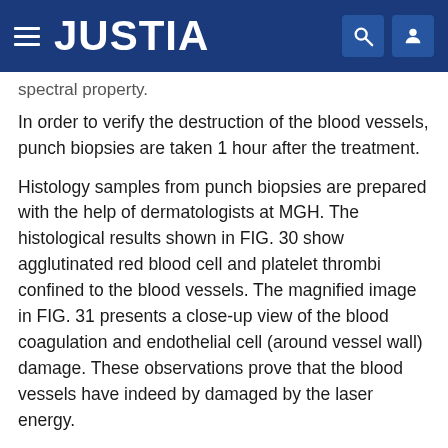JUSTIA
spectral property.
In order to verify the destruction of the blood vessels, punch biopsies are taken 1 hour after the treatment.
Histology samples from punch biopsies are prepared with the help of dermatologists at MGH. The histological results shown in FIG. 30 show agglutinated red blood cell and platelet thrombi confined to the blood vessels. The magnified image in FIG. 31 presents a close-up view of the blood coagulation and endothelial cell (around vessel wall) damage. These observations prove that the blood vessels have indeed by damaged by the laser energy.
The darker shades in the tissue region (red arrows) represent thermal damage. Notice that the tissue scarring is only confined to straight paths along which